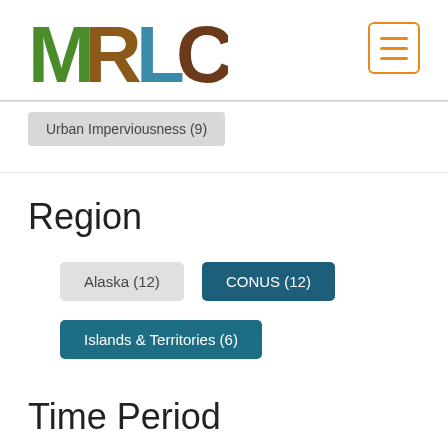[Figure (logo): MRLC logo with nature-themed letters: M (green trees), R (brown wood), L (blue water), C (brown earth)]
Urban Imperviousness (9)
Region
Alaska (12)
CONUS (12)
Islands & Territories (6)
Time Period